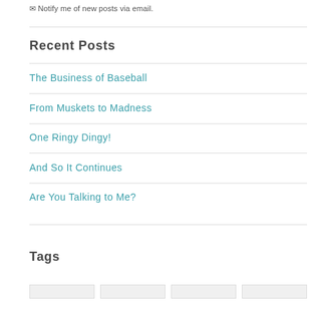Notify me of new posts via email.
Recent Posts
The Business of Baseball
From Muskets to Madness
One Ringy Dingy!
And So It Continues
Are You Talking to Me?
Tags